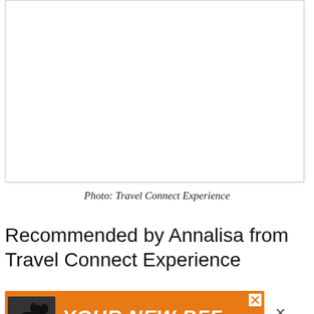[Figure (photo): Blank white photo placeholder with light border, partially visible at top of page]
Photo: Travel Connect Experience
Recommended by Annalisa from Travel Connect Experience
[Figure (infographic): Orange advertisement banner with a dog silhouette and text 'YOUR NEW BFF', with a close button]